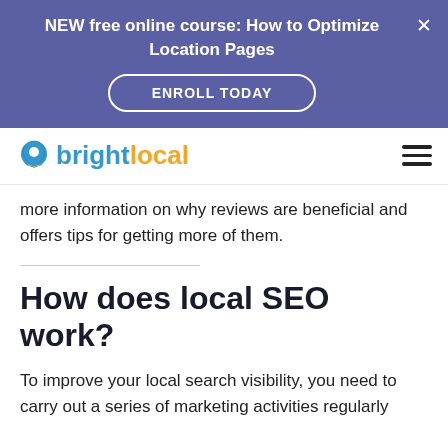NEW free online course: How to Optimize Location Pages
ENROLL TODAY
[Figure (logo): BrightLocal logo with location pin icon in blue/orange colors]
more information on why reviews are beneficial and offers tips for getting more of them.
How does local SEO work?
To improve your local search visibility, you need to carry out a series of marketing activities regularly